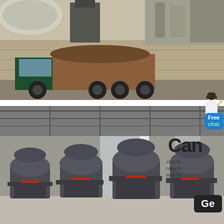[Figure (photo): Industrial site photo showing a large green dump truck loaded with material, driving past a stone retaining wall with industrial buildings and equipment in the background.]
[Figure (photo): Factory warehouse interior showing a row of large dark grey industrial grinding mills or pulverizers lined up on the floor, with a steel-framed roof structure visible above.]
Free chat
Can
After th... cane.W... lawn m...
Ge